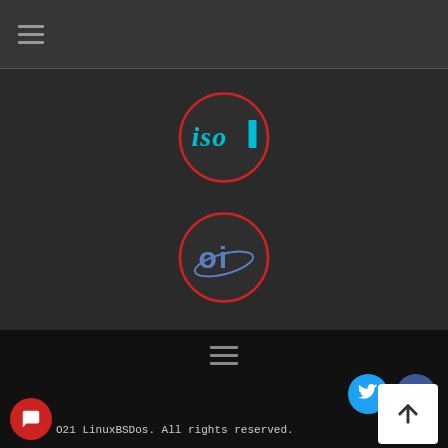≡ (hamburger menu icon)
[Figure (logo): Circular logo with red border showing stylized 'iso' text in teal/cyan italic style with a teal rectangular element, on dark background]
[Figure (logo): Circular logo with red border showing 'oi' text with orbital ring design in blue/steel colors on dark background]
≡ (hamburger menu icon) | Twitter and Facebook social icons
14
O21 LinuxBSDos. All rights reserved.